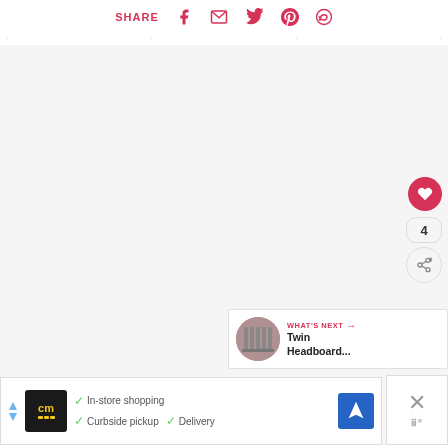SHARE [facebook] [email] [twitter] [pinterest] [whatsapp]
[Figure (screenshot): Social share bar with SHARE label and social media icons: Facebook, Email, Twitter, Pinterest, WhatsApp in crimson/red color]
[Figure (screenshot): Large light gray content area with floating action buttons: a red heart button, a count showing '4', and a share button. A 'WHAT'S NEXT' card shows a thumbnail and 'Twin Headboard...' text. An advertisement bar at the bottom shows 'cm' logo with 'In-store shopping', 'Curbside pickup', 'Delivery' checkmarks and a blue navigation icon. A close button with X appears at bottom right.]